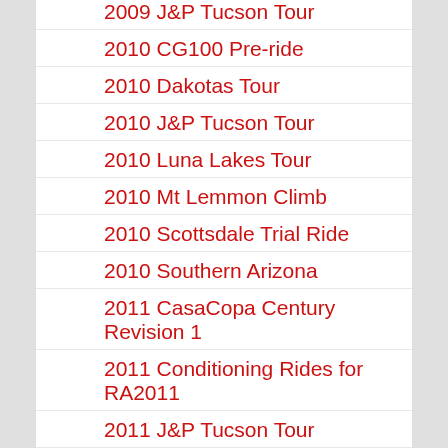2009 J&P Tucson Tour
2010 CG100 Pre-ride
2010 Dakotas Tour
2010 J&P Tucson Tour
2010 Luna Lakes Tour
2010 Mt Lemmon Climb
2010 Scottsdale Trial Ride
2010 Southern Arizona
2011 CasaCopa Century Revision 1
2011 Conditioning Rides for RA2011
2011 J&P Tucson Tour
2011 Ride Across America
2012 Utah-Colorado
2013 Florida Coast Tour